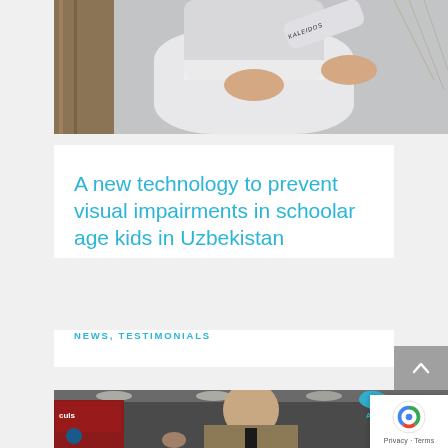[Figure (photo): Person in white shirt holding a cylindrical object labeled KALEIDOS, photo cropped at top portion]
A new technology to prevent visual impairments in schoolar age kids in Uzbekistan
NEWS, TESTIMONIALS
[Figure (photo): Bald man in suit at what appears to be a trade show or expo, with APTICA logo visible in upper right corner]
Privacy · Terms